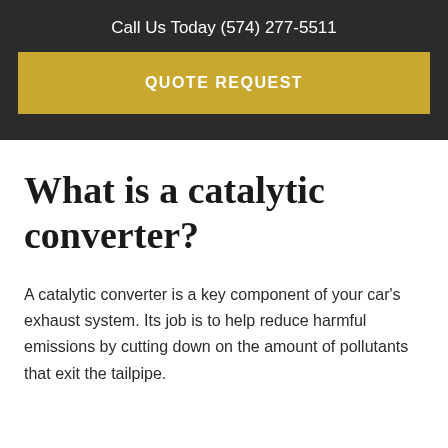Call Us Today (574) 277-5511
QUOTE REQUEST
What is a catalytic converter?
A catalytic converter is a key component of your car’s exhaust system. Its job is to help reduce harmful emissions by cutting down on the amount of pollutants that exit the tailpipe.